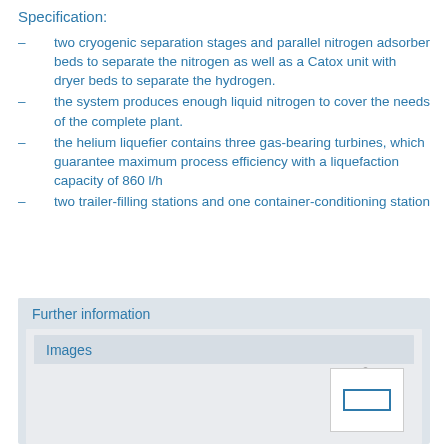Specification:
two cryogenic separation stages and parallel nitrogen adsorber beds to separate the nitrogen as well as a Catox unit with dryer beds to separate the hydrogen.
the system produces enough liquid nitrogen to cover the needs of the complete plant.
the helium liquefier contains three gas-bearing turbines, which guarantee maximum process efficiency with a liquefaction capacity of 860 l/h
two trailer-filling stations and one container-conditioning station
Further information
Images
[Figure (illustration): Small image placeholder thumbnail with a blue rectangle icon]